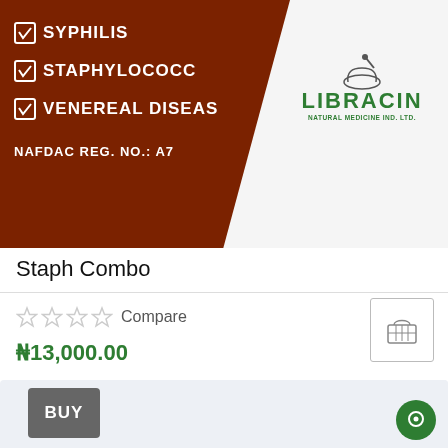[Figure (photo): Product image for Staph Combo showing a dark red/brown banner with checkboxes and text: SYPHILIS, STAPHYLOCOCC(US), VENEREAL DISEAS(ES), NAFDAC REG. NO.: A7... and the Libracin Natural Medicine Ind. Ltd. logo with mortar and pestle icon.]
Staph Combo
Compare
₦13,000.00
BUY
[Figure (photo): Product packaging photo showing MASOUM brand box and a white round jar/container on a light blue-grey background.]